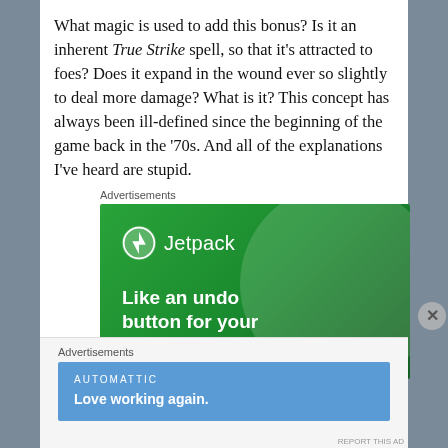What magic is used to add this bonus? Is it an inherent True Strike spell, so that it's attracted to foes? Does it expand in the wound ever so slightly to deal more damage? What is it? This concept has always been ill-defined since the beginning of the game back in the '70s. And all of the explanations I've heard are stupid.
Advertisements
[Figure (screenshot): Jetpack advertisement banner: green background with Jetpack logo and text 'Like an undo button for your WordPress site']
Advertisements
[Figure (screenshot): Automattic advertisement: blue background with 'AUTOMATTIC' title and 'Love working again.' tagline]